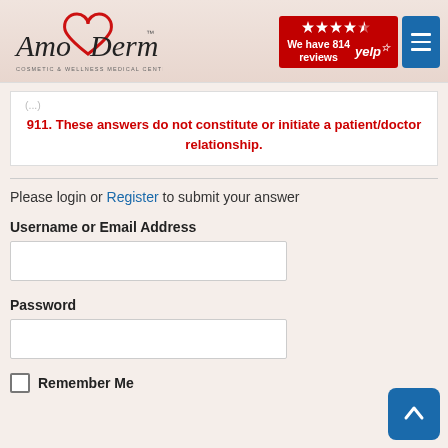[Figure (logo): AmoDerm Cosmetic & Wellness Medical Center logo with red heart graphic and script text]
[Figure (other): Yelp rating badge showing 4.5 stars and 814 reviews]
911. These answers do not constitute or initiate a patient/doctor relationship.
Please login or Register to submit your answer
Username or Email Address
Password
Remember Me